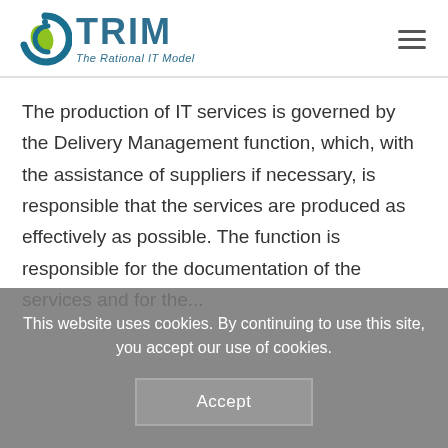[Figure (logo): TRIM - The Rational IT Model logo with circular green/blue icon and text]
The production of IT services is governed by the Delivery Management function, which, with the assistance of suppliers if necessary, is responsible that the services are produced as effectively as possible. The function is responsible for the documentation of the services and for the...
This website uses cookies. By continuing to use this site, you accept our use of cookies.
Accept